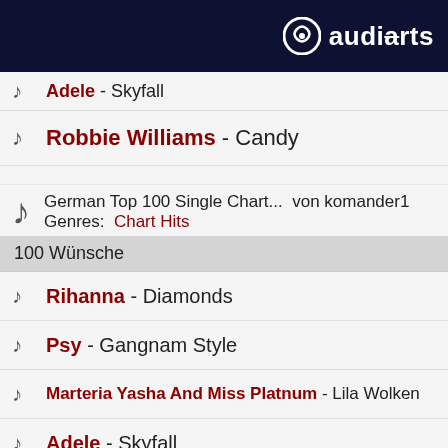audiarts logo
Adele - Skyfall
Robbie Williams - Candy
German Top 100 Single Chart... von komander1
Genres: Chart Hits
100 Wünsche
Rihanna - Diamonds
Psy - Gangnam Style
Marteria Yasha And Miss Platnum - Lila Wolken
Adele - Skyfall
Robbie Williams - Candy